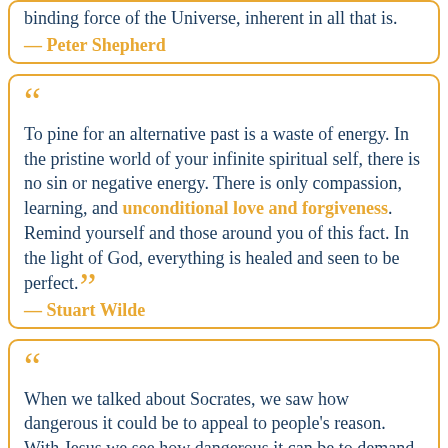binding force of the Universe, inherent in all that is.
— Peter Shepherd
To pine for an alternative past is a waste of energy. In the pristine world of your infinite spiritual self, there is no sin or negative energy. There is only compassion, learning, and unconditional love and forgiveness. Remind yourself and those around you of this fact. In the light of God, everything is healed and seen to be perfect.
— Stuart Wilde
When we talked about Socrates, we saw how dangerous it could be to appeal to people's reason. With Jesus we see how dangerous it can be to demand unconditional forgiveness. Even in the world of today